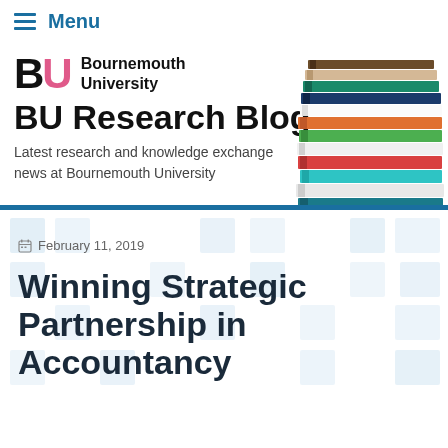Menu
[Figure (logo): Bournemouth University BU logo with pink U and stacked books photo on the right]
BU Research Blog
Latest research and knowledge exchange news at Bournemouth University
February 11, 2019
Winning Strategic Partnership in Accountancy